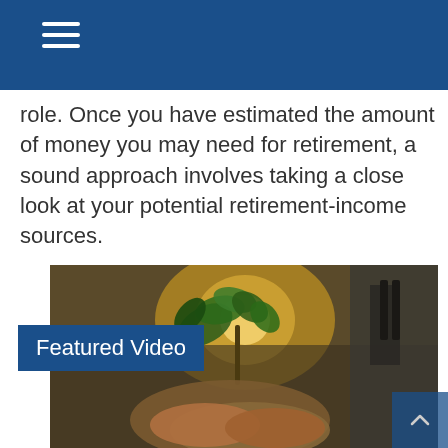role. Once you have estimated the amount of money you may need for retirement, a sound approach involves taking a close look at your potential retirement-income sources.
[Figure (photo): Hands cupping a small green plant seedling with sunlight behind it, and a person in overalls standing in the background. A blue 'Featured Video' label overlay appears in the upper left of the image.]